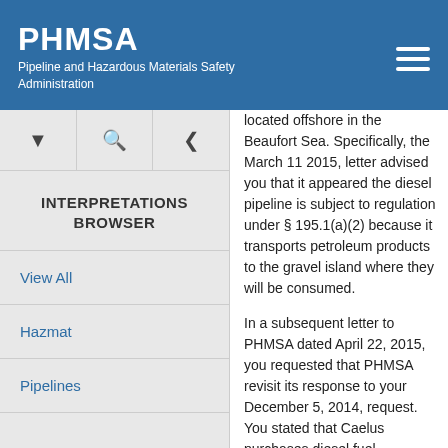PHMSA Pipeline and Hazardous Materials Safety Administration
located offshore in the Beaufort Sea. Specifically, the March 11 2015, letter advised you that it appeared the diesel pipeline is subject to regulation under § 195.1(a)(2) because it transports petroleum products to the gravel island where they will be consumed.
In a subsequent letter to PHMSA dated April 22, 2015, you requested that PHMSA revisit its response to your December 5, 2014, request. You stated that Caelus purchases diesel fuel
INTERPRETATIONS BROWSER
View All
Hazmat
Pipelines